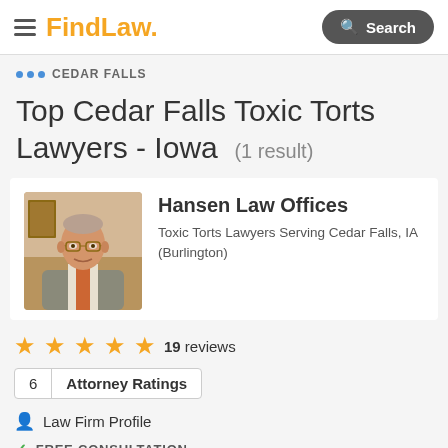FindLaw — Search
... CEDAR FALLS
Top Cedar Falls Toxic Torts Lawyers - Iowa (1 result)
[Figure (photo): Photo of attorney/lawyer from Hansen Law Offices, an older man wearing glasses and a suit with orange tie, seated in an office setting.]
Hansen Law Offices
Toxic Torts Lawyers Serving Cedar Falls, IA (Burlington)
★★★★★ 19 reviews
6  Attorney Ratings
Law Firm Profile
FREE CONSULTATION